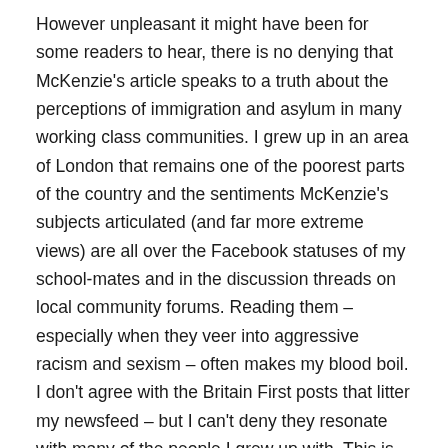However unpleasant it might have been for some readers to hear, there is no denying that McKenzie's article speaks to a truth about the perceptions of immigration and asylum in many working class communities. I grew up in an area of London that remains one of the poorest parts of the country and the sentiments McKenzie's subjects articulated (and far more extreme views) are all over the Facebook statuses of my school-mates and in the discussion threads on local community forums. Reading them – especially when they veer into aggressive racism and sexism – often makes my blood boil. I don't agree with the Britain First posts that litter my newsfeed – but I can't deny they resonate with many of the people I grew up with. This is what people think, and we have to acknowledge it. We can't just dismiss these views as bigoted and 'wrong'. The cuts and austerity measures implemented by this government have overwhelmingly affected the working classes. (Of course, the 'working class' includes people of all races and ethnicities. Indeed, it is not only 'white people' who express reservations about asylum and economic immigration). And people